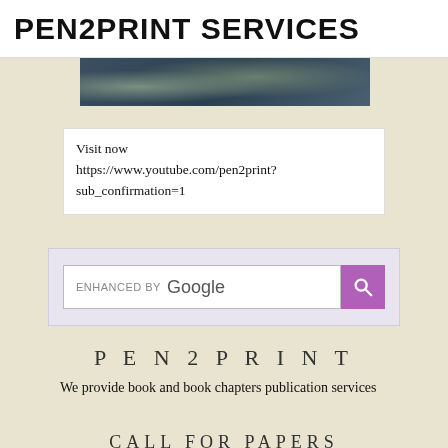PEN2PRINT SERVICES
[Figure (photo): Partially visible photo strip at top of content area, dark tones with greenish hues suggesting people or scenery]
Visit now
https://www.youtube.com/pen2print?sub_confirmation=1
[Figure (screenshot): Google enhanced search bar with purple search button]
PEN2PRINT
We provide book and book chapters publication services
CALL FOR PAPERS